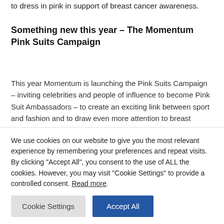to dress in pink in support of breast cancer awareness.
Something new this year – The Momentum Pink Suits Campaign
This year Momentum is launching the Pink Suits Campaign – inviting celebrities and people of influence to become Pink Suit Ambassadors – to create an exciting link between sport and fashion and to draw even more attention to breast cancer awareness (and of course raise more for PinkDrive, who service communities throughout South
We use cookies on our website to give you the most relevant experience by remembering your preferences and repeat visits. By clicking "Accept All", you consent to the use of ALL the cookies. However, you may visit "Cookie Settings" to provide a controlled consent. Read more.